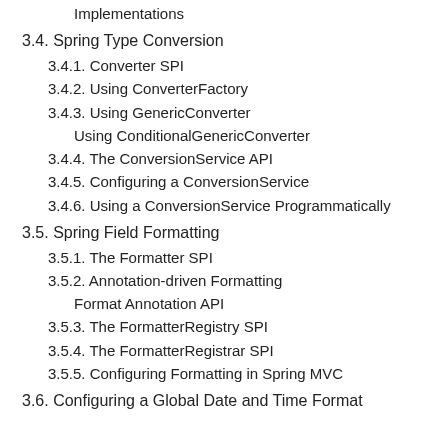Implementations
3.4. Spring Type Conversion
3.4.1. Converter SPI
3.4.2. Using ConverterFactory
3.4.3. Using GenericConverter
Using ConditionalGenericConverter
3.4.4. The ConversionService API
3.4.5. Configuring a ConversionService
3.4.6. Using a ConversionService Programmatically
3.5. Spring Field Formatting
3.5.1. The Formatter SPI
3.5.2. Annotation-driven Formatting
Format Annotation API
3.5.3. The FormatterRegistry SPI
3.5.4. The FormatterRegistrar SPI
3.5.5. Configuring Formatting in Spring MVC
3.6. Configuring a Global Date and Time Format